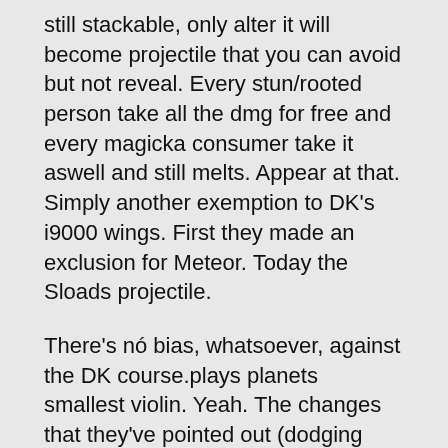still stackable, only alter it will become projectile that you can avoid but not reveal. Every stun/rooted person take all the dmg for free and every magicka consumer take it aswell and still melts. Appear at that. Simply another exemption to DK's i9000 wings. First they made an exclusion for Meteor. Today the Sloads projectile.
There's nó bias, whatsoever, against the DK course.plays planets smallest violin. Yeah. The changes that they've pointed out (dodging sloads dodging rune competition) only really advantages perma-dodge builds (who furthermore happen to become the OP stamblades). So these modifications wear't advantage mag develops nearly simply because much. There was not a one word from Wrobel that rune cage will be actually dodgeable. Just words had been it will end up being much better telegraphed its coming. If it is definitely as he said to the letter its nevertheless cant end up being dodged and